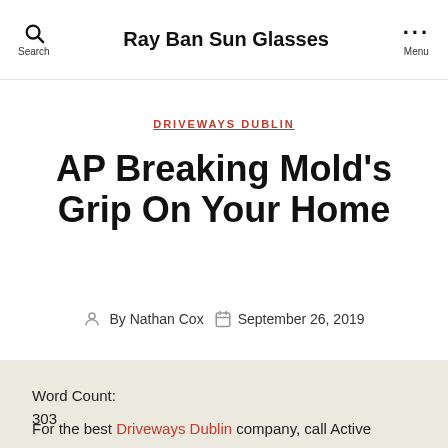Ray Ban Sun Glasses
DRIVEWAYS DUBLIN
AP Breaking Mold's Grip On Your Home
By Nathan Cox  September 26, 2019
Word Count:
303
For the best Driveways Dublin company, call Active